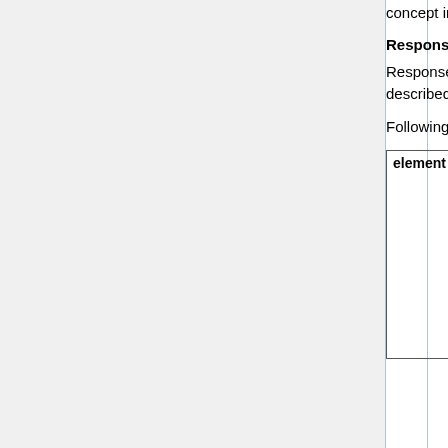concept in a context.
Response Content: Ob
Response ObrAnnotatio contents of ObrAnnotati described in section Res ObrAnnotationBean.
Following are remaining ObrAnnotationBeanDeta
| element |  |
| --- | --- |
| element | • localElem resource e
• elementSt an eleme
Response Co
resourceId
contexts
itemKeys
weights |